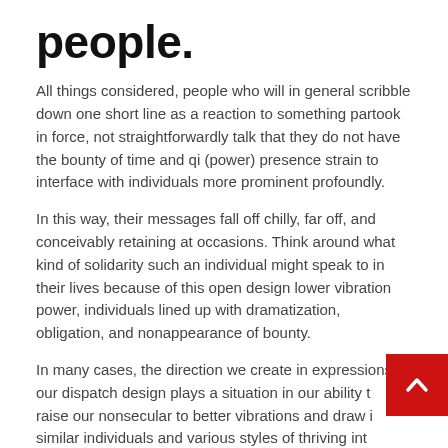people.
All things considered, people who will in general scribble down one short line as a reaction to something partook in force, not straightforwardly talk that they do not have the bounty of time and qi (power) presence strain to interface with individuals more prominent profoundly.
In this way, their messages fall off chilly, far off, and conceivably retaining at occasions. Think around what kind of solidarity such an individual might speak to in their lives because of this open design lower vibration power, individuals lined up with dramatization, obligation, and nonappearance of bounty.
In many cases, the direction we create in expressions of our dispatch design plays a situation in our ability to raise our nonsecular to better vibrations and draw in similar individuals and various styles of thriving into our lives.